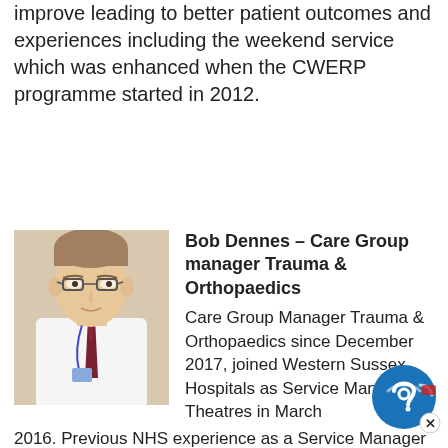improve leading to better patient outcomes and experiences including the weekend service which was enhanced when the CWERP programme started in 2012.
[Figure (photo): Headshot photo of Bob Dennes, a man wearing glasses, a white shirt, and a dark tie with a lanyard, against a light background.]
Bob Dennes – Care Group manager Trauma & Orthopaedics
Care Group Manager Trauma & Orthopaedics since December 2017, joined Western Sussex Hospitals as Service Manager, Theatres in March 2016. Previous NHS experience as a Service Manager at Salisbury NHS FT from Jan 2010 to March 2017. Bob completed a MSc in Healthcare Leadership via NHS Leadership Academy and University of Birmingham in Jan 2017. I live on the Isle of Wight and enjoy cycling